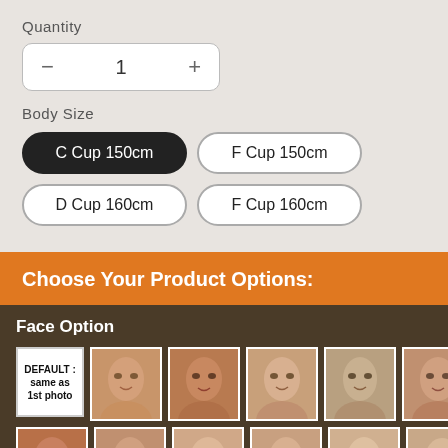Quantity
− 1 +
Body Size
C Cup 150cm
F Cup 150cm
D Cup 160cm
F Cup 160cm
Choose Your Product Options:
Face Option
[Figure (photo): Grid of face option thumbnails for product selection, including a DEFAULT same as 1st photo option and 12 face photo thumbnails arranged in rows]